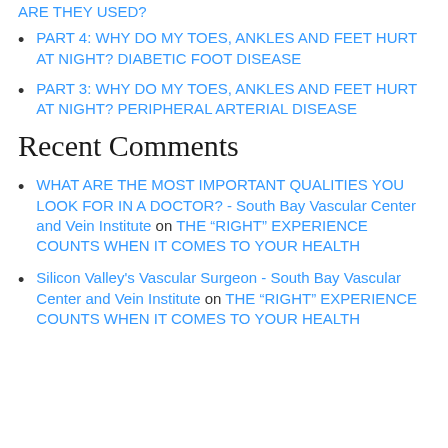PART 4: WHY DO MY TOES, ANKLES AND FEET HURT AT NIGHT? DIABETIC FOOT DISEASE
PART 3: WHY DO MY TOES, ANKLES AND FEET HURT AT NIGHT? PERIPHERAL ARTERIAL DISEASE
Recent Comments
WHAT ARE THE MOST IMPORTANT QUALITIES YOU LOOK FOR IN A DOCTOR? - South Bay Vascular Center and Vein Institute on THE “RIGHT” EXPERIENCE COUNTS WHEN IT COMES TO YOUR HEALTH
Silicon Valley's Vascular Surgeon - South Bay Vascular Center and Vein Institute on THE “RIGHT” EXPERIENCE COUNTS WHEN IT COMES TO YOUR HEALTH